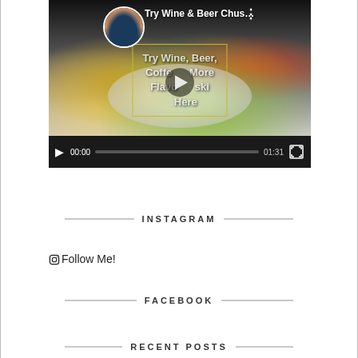[Figure (screenshot): Video player showing 'Try Wine & Beer Chuski H...' with food thumbnail, play button overlay, progress bar showing 00:00 / 01:31, and fullscreen button]
INSTAGRAM
Follow Me!
FACEBOOK
RECENT POSTS